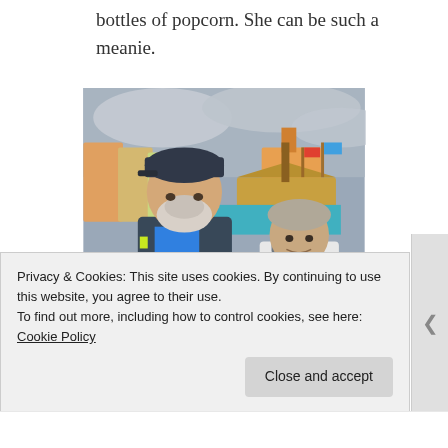bottles of popcorn. She can be such a meanie.
[Figure (photo): A man with a dark cap and white beard wearing a blue t-shirt and dark jacket, standing next to a woman with short grey hair wearing a white jacket, posing for a selfie at a theme park (Disneyland-style) with a colorful ship ride and flags in the background under a cloudy sky.]
Privacy & Cookies: This site uses cookies. By continuing to use this website, you agree to their use.
To find out more, including how to control cookies, see here: Cookie Policy